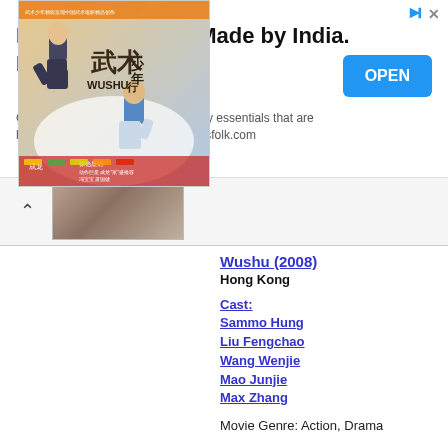[Figure (infographic): Advertisement banner: Ethical Fashion - Made by India. Made in India. Come, discover Dressfolk's everyday essentials that are hand-made for you, especially. dressfolk.com. Blue OPEN button on the right.]
[Figure (photo): Partially visible collapsed section with an upward arrow and a cropped photo of people in clothing.]
[Figure (photo): Movie poster for Wushu (2008) showing two martial arts practitioners with Chinese characters and the word WUSHU.]
Wushu (2008)
Hong Kong
Cast:
Sammo Hung
Liu Fengchao
Wang Wenjie
Mao Junjie
Max Zhang
Movie Genre: Action, Drama